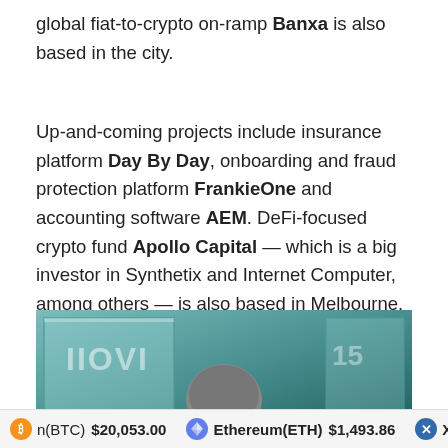global fiat-to-crypto on-ramp Banxa is also based in the city.
Up-and-coming projects include insurance platform Day By Day, onboarding and fraud protection platform FrankieOne and accounting software AEM. DeFi-focused crypto fund Apollo Capital — which is a big investor in Synthetix and Internet Computer, among others — is also based in Melbourne. Apollo's chief investment officer, Henrik Andersson, co-founded the decentralized pool trading platform dHEDGE and yield platform mStable (and helped out with a few ideas for this guide).
[Figure (photo): Photo of a person (head visible) in front of a building with glass windows, teal/blue-green color scheme]
(BTC) $20,053.00   Ethereum(ETH) $1,493.86   XRP(XRP) $